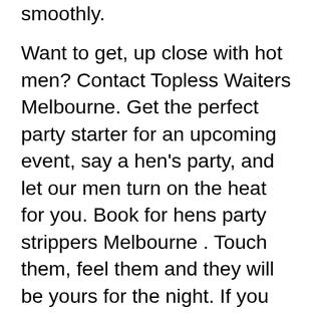smoothly. Want to get, up close with hot men? Contact Topless Waiters Melbourne. Get the perfect party starter for an upcoming event, say a hen's party, and let our men turn on the heat for you. Book for hens party strippers Melbourne . Touch them, feel them and they will be yours for the night. If you are planning to surprise the hen, book from our listed performers. Be it the handsome Eddy, who goes magical with his skillful moves, bringing before your eyes a wholesome muscular bodyline, this guy is a little too bold in getting off his gears. Oops! Watch Chris, the passionate hunk for ladies who love unleashing the best in a man. Topless Waiters Melbourne has the cream from milk